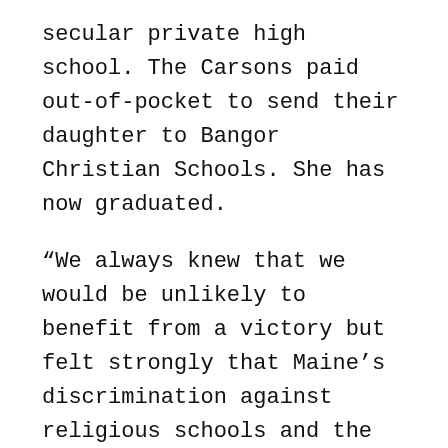secular private high school. The Carsons paid out-of-pocket to send their daughter to Bangor Christian Schools. She has now graduated.
“We always knew that we would be unlikely to benefit from a victory but felt strongly that Maine’s discrimination against religious schools and the families who choose them violated the Constitution and needed to end,” Amy Carson said after the ruling.
Liberal Justice Stephen Breyer wrote that state funding of religious activity